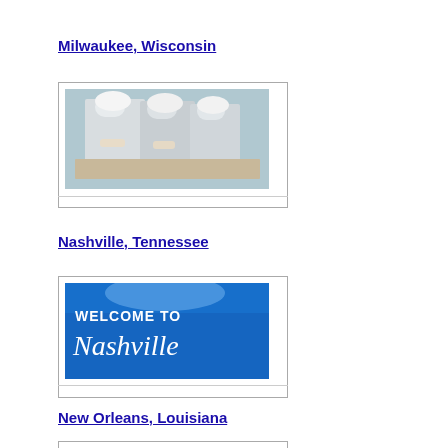Milwaukee, Wisconsin
[Figure (photo): Photo of people in chef/kitchen worker attire working together, viewed from above]
Nashville, Tennessee
[Figure (photo): Photo of a blue sign reading 'WELCOME TO Nashville']
New Orleans, Louisiana
[Figure (photo): Partially visible photo at bottom of page]